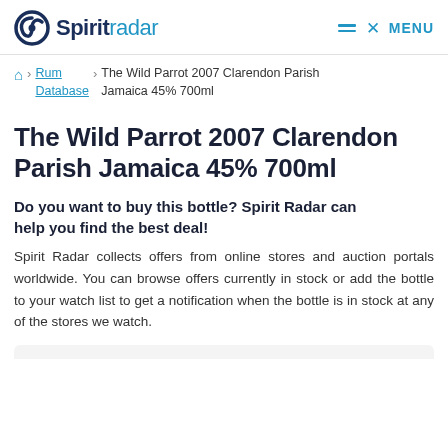Spirit radar MENU
Rum Database › The Wild Parrot 2007 Clarendon Parish Jamaica 45% 700ml
The Wild Parrot 2007 Clarendon Parish Jamaica 45% 700ml
Do you want to buy this bottle? Spirit Radar can help you find the best deal!
Spirit Radar collects offers from online stores and auction portals worldwide. You can browse offers currently in stock or add the bottle to your watch list to get a notification when the bottle is in stock at any of the stores we watch.